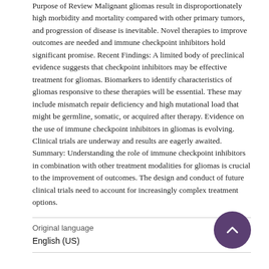Purpose of Review Malignant gliomas result in disproportionately high morbidity and mortality compared with other primary tumors, and progression of disease is inevitable. Novel therapies to improve outcomes are needed and immune checkpoint inhibitors hold significant promise. Recent Findings: A limited body of preclinical evidence suggests that checkpoint inhibitors may be effective treatment for gliomas. Biomarkers to identify characteristics of gliomas responsive to these therapies will be essential. These may include mismatch repair deficiency and high mutational load that might be germline, somatic, or acquired after therapy. Evidence on the use of immune checkpoint inhibitors in gliomas is evolving. Clinical trials are underway and results are eagerly awaited. Summary: Understanding the role of immune checkpoint inhibitors in combination with other treatment modalities for gliomas is crucial to the improvement of outcomes. The design and conduct of future clinical trials need to account for increasingly complex treatment options.
Original language
English (US)